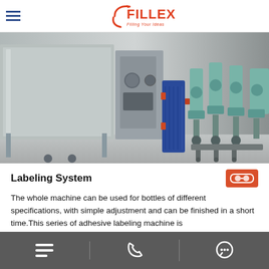FILLEX – Filling Your Ideas
[Figure (photo): Industrial filling/labeling machine system with stainless steel conveyor line, blue heat exchanger unit, and teal pumps/motors mounted on stands.]
Labeling System
The whole machine can be used for bottles of different specifications, with simple adjustment and can be finished in a short time.This series of adhesive labeling machine is
Navigation icons: menu, phone, chat